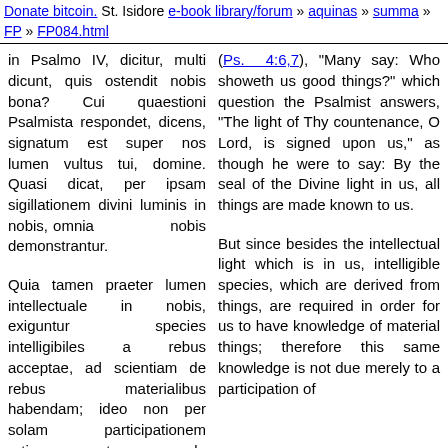Donate bitcoin. St. Isidore e-book library/forum » aquinas » summa » FP » FP084.html
in Psalmo IV, dicitur, multi dicunt, quis ostendit nobis bona? Cui quaestioni Psalmista respondet, dicens, signatum est super nos lumen vultus tui, domine. Quasi dicat, per ipsam sigillationem divini luminis in nobis, omnia nobis demonstrantur.
(Ps. 4:6,7), "Many say: Who showeth us good things?" which question the Psalmist answers, "The light of Thy countenance, O Lord, is signed upon us," as though he were to say: By the seal of the Divine light in us, all things are made known to us.
Quia tamen praeter lumen intellectuale in nobis, exiguntur species intelligibiles a rebus acceptae, ad scientiam de rebus materialibus habendam; ideo non per solam participationem rationum aeternarum de rebus materialibus
But since besides the intellectual light which is in us, intelligible species, which are derived from things, are required in order for us to have knowledge of material things; therefore this same knowledge is not due merely to a participation of